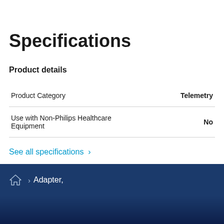Specifications
Product details
|  |  |
| --- | --- |
| Product Category | Telemetry |
| Use with Non-Philips Healthcare Equipment | No |
See all specifications ›
🏠 › Adapter,